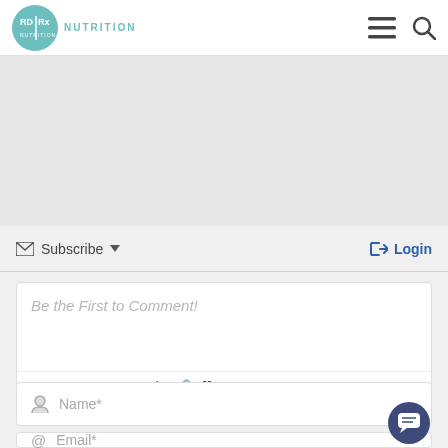[Figure (logo): RD|Rx Nutrition logo with teal circular badge and brand name]
[Figure (other): Hamburger menu and search icons in navigation header]
[Figure (other): Gray banner/advertisement placeholder area]
Subscribe ▼
Login
Be the First to Comment!
B I U S ≡ ≡ " <> 🔗 {} [+]
Name*
Email*